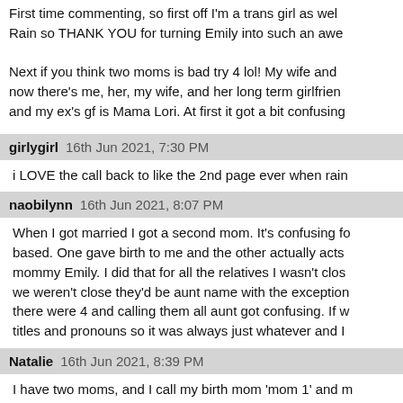First time commenting, so first off I'm a trans girl as well as Rain so THANK YOU for turning Emily into such an awe...

Next if you think two moms is bad try 4 lol! My wife and I... now there's me, her, my wife, and her long term girlfriend... and my ex's gf is Mama Lori. At first it got a bit confusing...
girlygirl  16th Jun 2021, 7:30 PM
i LOVE the call back to like the 2nd page ever when rain...
naobilynn  16th Jun 2021, 8:07 PM
When I got married I got a second mom. It's confusing fo... based. One gave birth to me and the other actually acts... mommy Emily. I did that for all the relatives I wasn't clos... we weren't close they'd be aunt name with the exception... there were 4 and calling them all aunt got confusing. If w... titles and pronouns so it was always just whatever and I...
Natalie  16th Jun 2021, 8:39 PM
I have two moms, and I call my birth mom 'mom 1' and m...
Reverend Browning  16th Jun 2021, 8:49 PM
I've heard "Mother" / "Mom" used in this situation before...